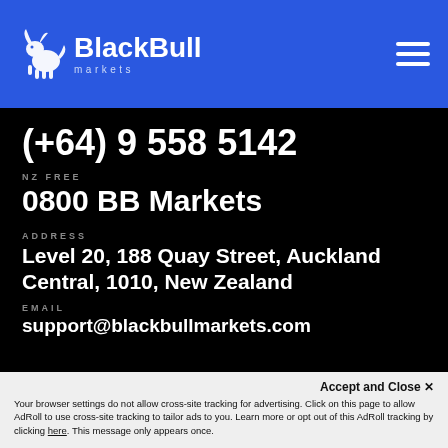BlackBull Markets
(+64) 9 558 5142
NZ FREE
0800 BB Markets
ADDRESS
Level 20, 188 Quay Street, Auckland Central, 1010, New Zealand
EMAIL
support@blackbullmarkets.com
Accept and Close ✕
Your browser settings do not allow cross-site tracking for advertising. Click on this page to allow AdRoll to use cross-site tracking to tailor ads to you. Learn more or opt out of this AdRoll tracking by clicking here. This message only appears once.